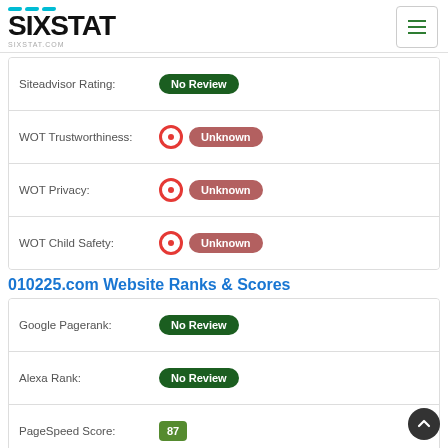SIXSTAT - sixstat.com
| Property | Value |
| --- | --- |
| Siteadvisor Rating: | No Review |
| WOT Trustworthiness: | Unknown |
| WOT Privacy: | Unknown |
| WOT Child Safety: | Unknown |
010225.com Website Ranks & Scores
| Property | Value |
| --- | --- |
| Google Pagerank: | No Review |
| Alexa Rank: | No Review |
| PageSpeed Score: | 87 |
| Domain Authority: |  |
| DMOZ Listing: | No |